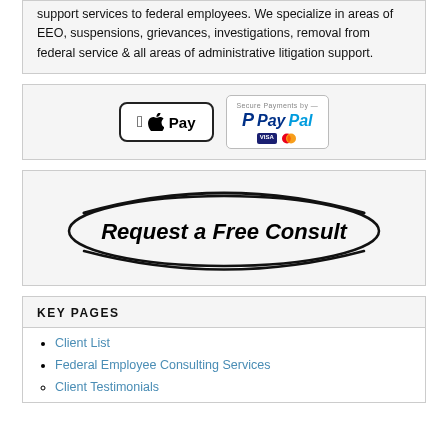support services to federal employees. We specialize in areas of EEO, suspensions, grievances, investigations, removal from federal service & all areas of administrative litigation support.
[Figure (infographic): Payment options: Apple Pay button and PayPal Secure Payments button with Visa and Mastercard logos]
[Figure (infographic): Request a Free Consult button with oval swoosh design]
KEY PAGES
Client List
Federal Employee Consulting Services
Client Testimonials